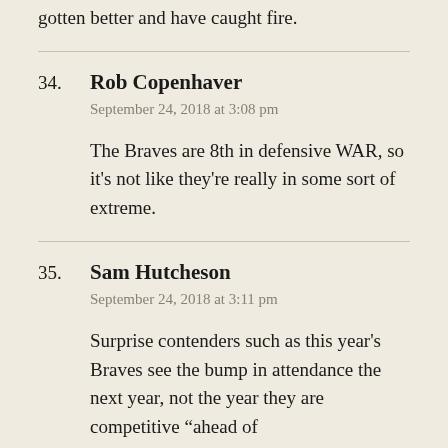gotten better and have caught fire.
34. Rob Copenhaver
September 24, 2018 at 3:08 pm
The Braves are 8th in defensive WAR, so it’s not like they’re really in some sort of extreme.
35. Sam Hutcheson
September 24, 2018 at 3:11 pm
Surprise contenders such as this year’s Braves see the bump in attendance the next year, not the year they are competitive “ahead of